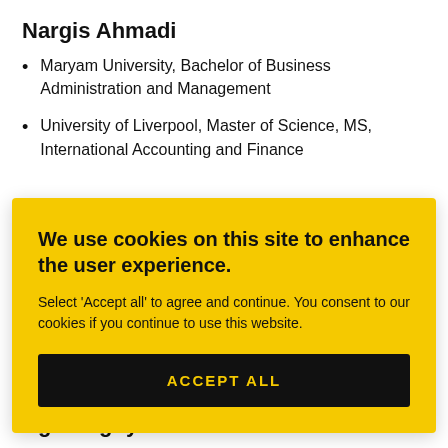Nargis Ahmadi
Maryam University, Bachelor of Business Administration and Management
University of Liverpool, Master of Science, MS, International Accounting and Finance
We use cookies on this site to enhance the user experience.
Select 'Accept all' to agree and continue. You consent to our cookies if you continue to use this website.
ACCEPT ALL
Ngoc Nguyen